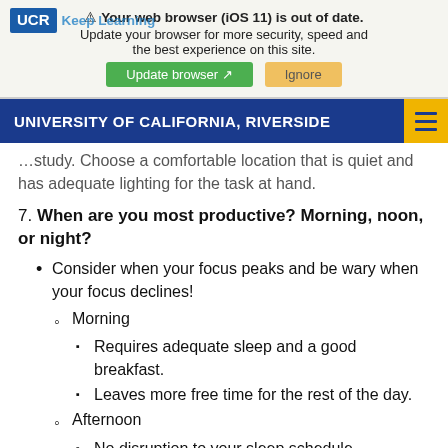[Figure (screenshot): Browser update notification banner with UCR Keep Learning logo overlay, 'Update browser' and 'Ignore' buttons]
UNIVERSITY OF CALIFORNIA, RIVERSIDE
quiet and has adequate lighting for the task at hand.
7. When are you most productive? Morning, noon, or night?
Consider when your focus peaks and be wary when your focus declines!
Morning
Requires adequate sleep and a good breakfast.
Leaves more free time for the rest of the day.
Afternoon
No disruption to your sleep schedule.